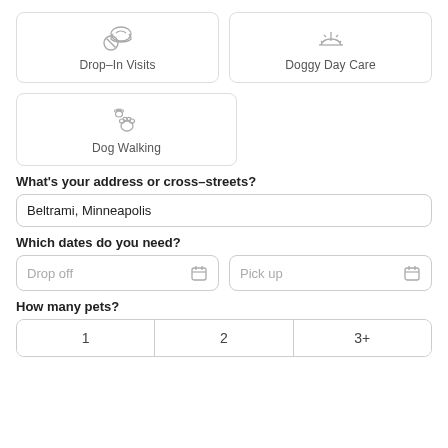[Figure (infographic): Service selection cards: Drop-In Visits (icon: paw with circle), Doggy Day Care (icon: sun/sunrise)]
[Figure (infographic): Service selection card: Dog Walking (icon: paw prints)]
What's your address or cross-streets?
Beltrami, Minneapolis
Which dates do you need?
Drop off
Pick up
How many pets?
| 1 | 2 | 3+ |
| --- | --- | --- |